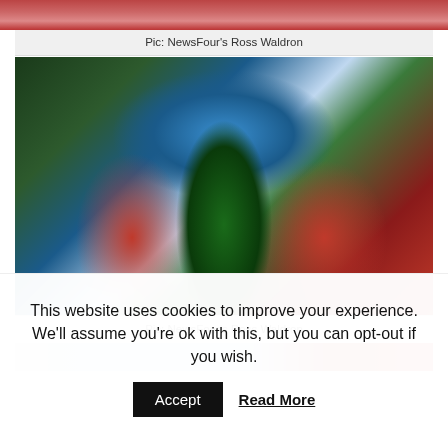[Figure (photo): Partial view of a Christmas photo at the top of the page, cropped]
Pic: NewsFour's Ross Waldron
[Figure (photo): Three people in Christmas costumes: a woman dressed as Mrs. Claus, a person dressed as a Christmas tree with green painted beard, and Santa Claus seated, in front of a Christmas-themed backdrop]
Pic: NewsFour's Ross Waldron
[Figure (photo): Partial view of another Christmas photo at the bottom, cropped by cookie overlay]
This website uses cookies to improve your experience. We'll assume you're ok with this, but you can opt-out if you wish.